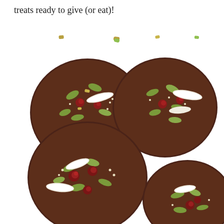treats ready to give (or eat)!
[Figure (photo): Several round dark chocolate discs topped with dried cranberries, pumpkin seeds, coconut flakes, and other toppings, arranged on a white background.]